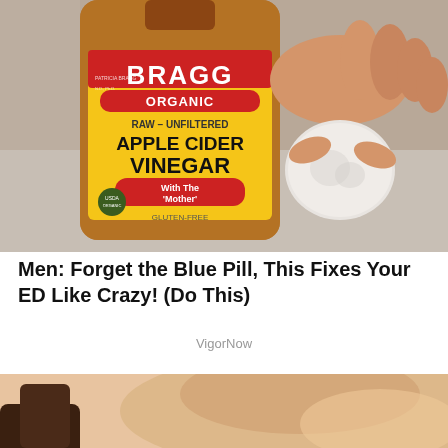[Figure (photo): Photo of a Bragg Organic Raw Unfiltered Apple Cider Vinegar bottle being held alongside a small white cotton pad held by a hand]
Men: Forget the Blue Pill, This Fixes Your ED Like Crazy! (Do This)
VigorNow
[Figure (photo): Close-up photo of a person's chin/neck area, partially visible, with a dark object at lower left]